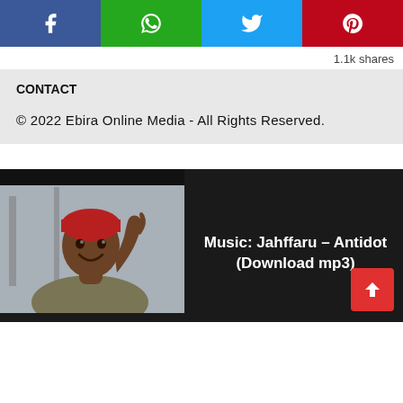[Figure (other): Social share buttons row: Facebook (blue), WhatsApp (green), Twitter (light blue), Pinterest (red)]
1.1k shares
CONTACT
© 2022 Ebira Online Media - All Rights Reserved.
[Figure (photo): Photo of a smiling man wearing a red headband and olive-colored shirt, waving his hand near his face, indoors]
Music: Jahffaru – Antidot (Download mp3)